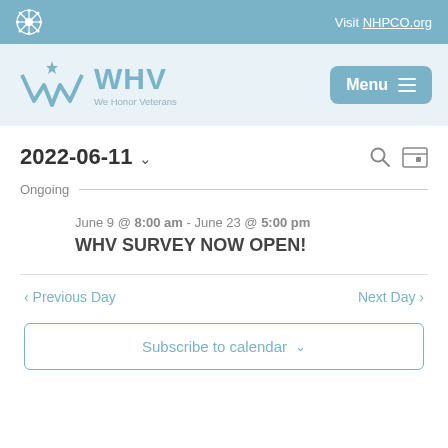Visit NHPCO.org
[Figure (logo): WHV We Honor Veterans logo with snowflake icon]
2022-06-11
Ongoing
June 9 @ 8:00 am - June 23 @ 5:00 pm
WHV SURVEY NOW OPEN!
< Previous Day
Next Day >
Subscribe to calendar